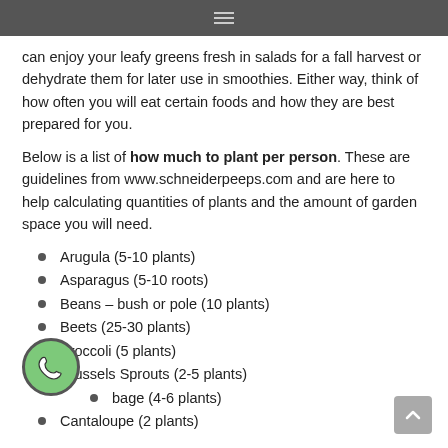can enjoy your leafy greens fresh in salads for a fall harvest or dehydrate them for later use in smoothies. Either way, think of how often you will eat certain foods and how they are best prepared for you.
Below is a list of how much to plant per person. These are guidelines from www.schneiderpeeps.com and are here to help calculating quantities of plants and the amount of garden space you will need.
Arugula  (5-10 plants)
Asparagus (5-10 roots)
Beans – bush or pole (10 plants)
Beets (25-30 plants)
Broccoli (5 plants)
Brussels Sprouts (2-5 plants)
Cabbage (4-6 plants)
Cantaloupe (2 plants)